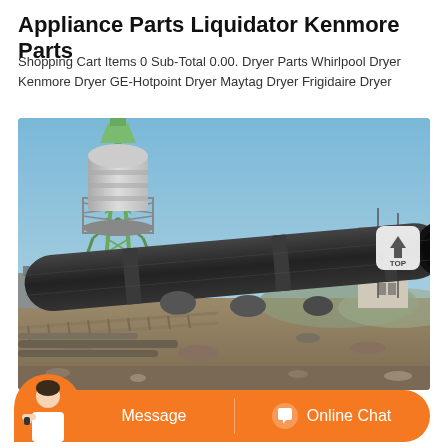Appliance Parts Liquidator Kenmore Parts
Shopping Cart Items 0 Sub-Total 0.00. Dryer Parts Whirlpool Dryer Kenmore Dryer GE-Hotpoint Dryer Maytag Dryer Frigidaire Dryer
[Figure (photo): Industrial rotary kiln or large cylindrical drum equipment at a construction or manufacturing site, with a tall green lattice tower structure and silver cylindrical vessel on the left, blue sky background.]
Message   Online Chat